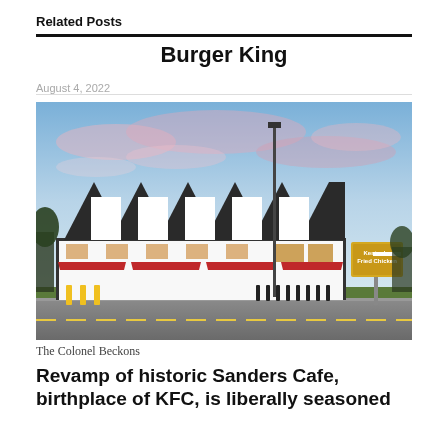Related Posts
Burger King
August 4, 2022
[Figure (photo): Exterior photo of the historic Sanders Cafe building, a KFC restaurant with distinctive triangular roofline peaks, red awnings, yellow bollards, and a Kentucky Fried Chicken sign, photographed at dusk with a blue and pink sky.]
The Colonel Beckons
Revamp of historic Sanders Cafe, birthplace of KFC, is liberally seasoned